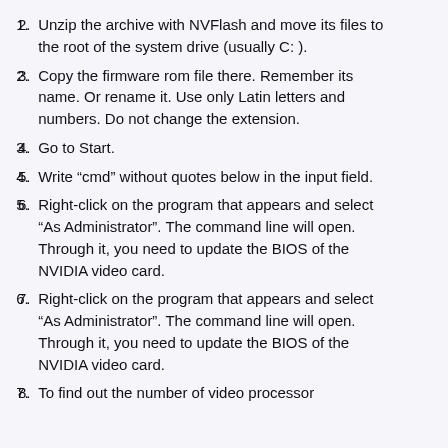Unzip the archive with NVFlash and move its files to the root of the system drive (usually C: ).
Copy the firmware rom file there. Remember its name. Or rename it. Use only Latin letters and numbers. Do not change the extension.
Go to Start.
Write “cmd” without quotes below in the input field.
Right-click on the program that appears and select “As Administrator”. The command line will open. Through it, you need to update the BIOS of the NVIDIA video card.
Right-click on the program that appears and select “As Administrator”. The command line will open. Through it, you need to update the BIOS of the NVIDIA video card.
To find out the number of video processor